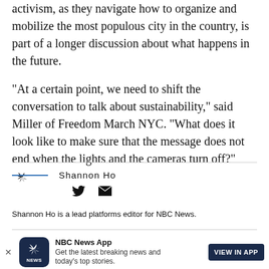activism, as they navigate how to organize and mobilize the most populous city in the country, is part of a longer discussion about what happens in the future.
"At a certain point, we need to shift the conversation to talk about sustainability," said Miller of Freedom March NYC. "What does it look like to make sure that the message does not end when the lights and the cameras turn off?"
Shannon Ho
Shannon Ho is a lead platforms editor for NBC News.
[Figure (logo): NBC News App banner with peacock logo, title 'NBC News App', subtitle 'Get the latest breaking news and today's top stories.', and 'VIEW IN APP' button]